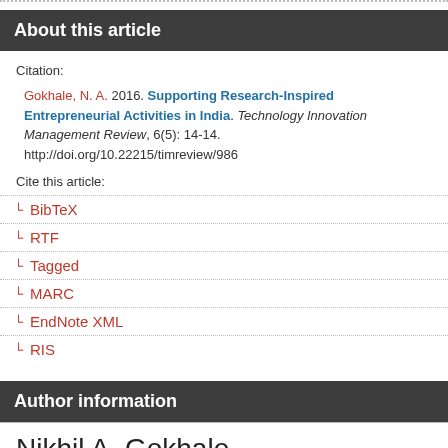About this article
Citation:
Gokhale, N. A. 2016. Supporting Research-Inspired Entrepreneurial Activities in India. Technology Innovation Management Review, 6(5): 14-14. http://doi.org/10.22215/timreview/986
Cite this article:
BibTeX
RTF
Tagged
MARC
EndNote XML
RIS
Author information
Nikhil A. Gokhale